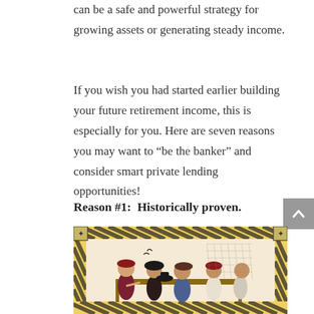can be a safe and powerful strategy for growing assets or generating steady income.
If you wish you had started earlier building your future retirement income, this is especially for you. Here are seven reasons you may want to “be the banker” and consider smart private lending opportunities!
Reason #1:  Historically proven.
[Figure (illustration): Historical illustration showing medieval/renaissance-era bankers or merchants at a table, with decorative black and yellow striped border. Several figures in period clothing are engaged in financial transactions.]